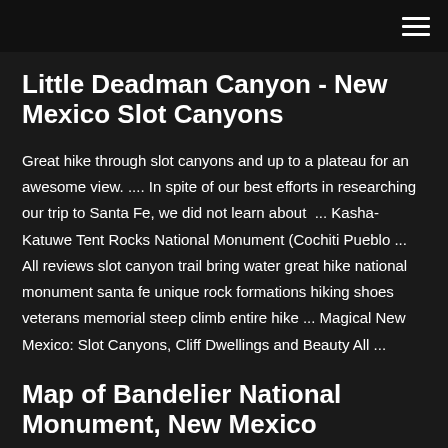Little Deadman Canyon - New Mexico Slot Canyons
Great hike through slot canyons and up to a plateau for an awesome view. .... In spite of our best efforts in researching our trip to Santa Fe, we did not learn about  ... Kasha-Katuwe Tent Rocks National Monument (Cochiti Pueblo ... All reviews slot canyon trail bring water great hike national monument santa fe unique rock formations hiking shoes veterans memorial steep climb entire hike ... Magical New Mexico: Slot Canyons, Cliff Dwellings and Beauty All ...
Map of Bandelier National Monument, New Mexico